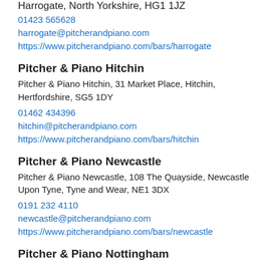Harrogate, North Yorkshire, HG1 1JZ
01423 565628
harrogate@pitcherandpiano.com
https://www.pitcherandpiano.com/bars/harrogate
Pitcher & Piano Hitchin
Pitcher & Piano Hitchin, 31 Market Place, Hitchin, Hertfordshire, SG5 1DY
01462 434396
hitchin@pitcherandpiano.com
https://www.pitcherandpiano.com/bars/hitchin
Pitcher & Piano Newcastle
Pitcher & Piano Newcastle, 108 The Quayside, Newcastle Upon Tyne, Tyne and Wear, NE1 3DX
0191 232 4110
newcastle@pitcherandpiano.com
https://www.pitcherandpiano.com/bars/newcastle
Pitcher & Piano Nottingham